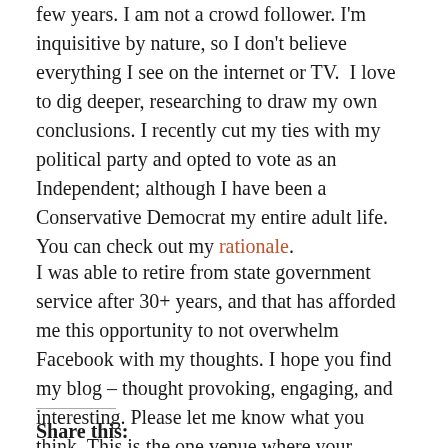few years. I am not a crowd follower. I'm inquisitive by nature, so I don't believe everything I see on the internet or TV.  I love to dig deeper, researching to draw my own conclusions. I recently cut my ties with my political party and opted to vote as an Independent; although I have been a Conservative Democrat my entire adult life. You can check out my rationale.
I was able to retire from state government service after 30+ years, and that has afforded me this opportunity to not overwhelm Facebook with my thoughts. I hope you find my blog – thought provoking, engaging, and interesting. Please let me know what you think. This is the one venue where your feedback is the juice craved to keep going and going.
Share this: